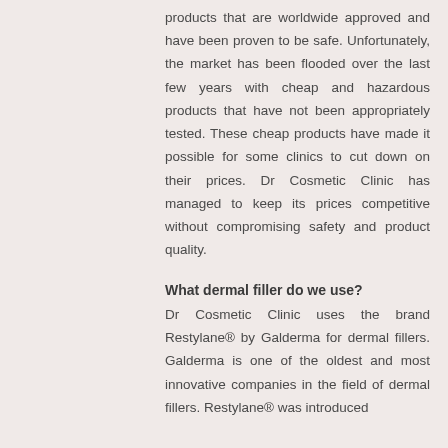products that are worldwide approved and have been proven to be safe. Unfortunately, the market has been flooded over the last few years with cheap and hazardous products that have not been appropriately tested. These cheap products have made it possible for some clinics to cut down on their prices. Dr Cosmetic Clinic has managed to keep its prices competitive without compromising safety and product quality.
What dermal filler do we use?
Dr Cosmetic Clinic uses the brand Restylane® by Galderma for dermal fillers. Galderma is one of the oldest and most innovative companies in the field of dermal fillers. Restylane® was introduced